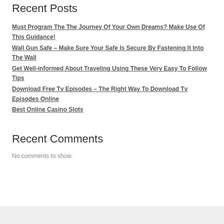Recent Posts
Must Program The The Journey Of Your Own Dreams? Make Use Of This Guidance!
Wall Gun Safe – Make Sure Your Safe Is Secure By Fastening It Into The Wall
Get Well-informed About Traveling Using These Very Easy To Follow Tips
Download Free Tv Episodes – The Right Way To Download Tv Episodes Online
Best Online Casino Slots
Recent Comments
No comments to show.